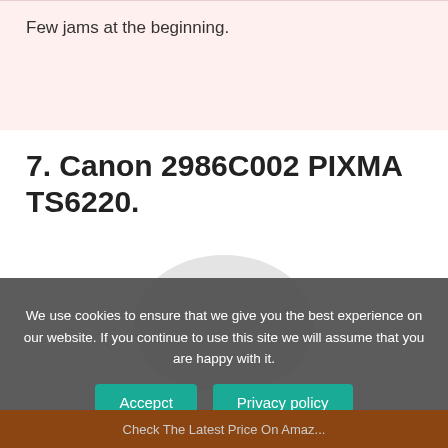Few jams at the beginning.
7. Canon 2986C002 PIXMA TS6220.
[Figure (photo): Placeholder image area for Canon 2986C002 PIXMA TS6220 product photo, shown as a light gray rounded blob shape]
We use cookies to ensure that we give you the best experience on our website. If you continue to use this site we will assume that you are happy with it.
Accepct   Privacy policy
Check The Latest Price On Amaz...